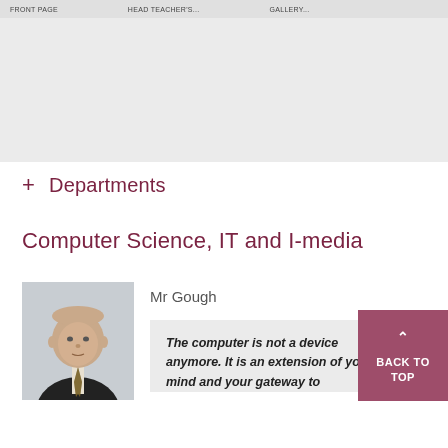Departments
+ Departments
Computer Science, IT and I-media
[Figure (photo): Portrait photo of Mr Gough, an older man in a dark suit with a striped tie, against a grey background]
Mr Gough
The computer is not a device anymore. It is an extension of your mind and your gateway to